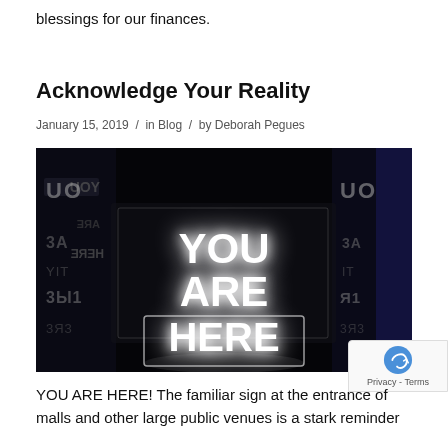blessings for our finances.
Acknowledge Your Reality
January 15, 2019 / in Blog / by Deborah Pegues
[Figure (photo): A dark room with a neon sign reading 'YOU ARE HERE' reflected in mirrors on both sides, creating a mirrored tunnel effect.]
YOU ARE HERE! The familiar sign at the entrance of malls and other large public venues is a stark reminder...